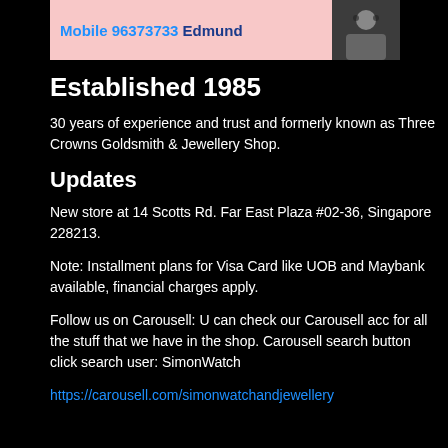[Figure (screenshot): Banner image with pink background showing 'Mobile 96373733 Edmund' text in blue, and a photo of a man on the right side.]
Established 1985
30 years of experience and trust and formerly known as Three Crowns Goldsmith & Jewellery Shop.
Updates
New store at 14 Scotts Rd. Far East Plaza #02-36, Singapore 228213.
Note: Installment plans for Visa Card like UOB and Maybank available, financial charges apply.
Follow us on Carousell: U can check our Carousell acc for all the stuff that we have in the shop. Carousell search button click search user: SimonWatch
https://carousell.com/simonwatchandjewellery